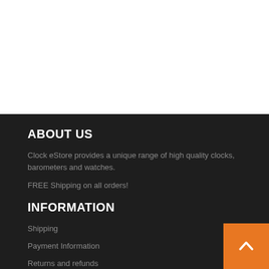ABOUT US
Clock eStore provides a unique range of high quality clocks, barometers and watches.
FREE Shipping on all orders!
INFORMATION
Shipping
Payment Information
Returns and refunds
[Figure (illustration): Orange back-to-top button with upward chevron arrow in bottom-right corner]